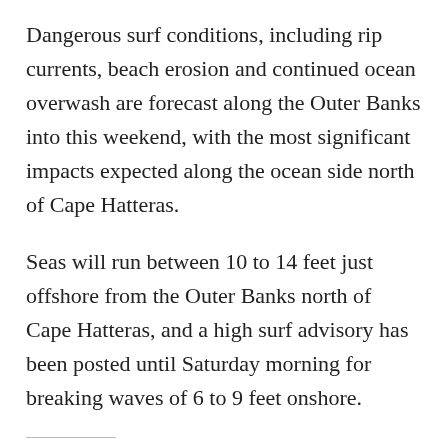Dangerous surf conditions, including rip currents, beach erosion and continued ocean overwash are forecast along the Outer Banks into this weekend, with the most significant impacts expected along the ocean side north of Cape Hatteras.
Seas will run between 10 to 14 feet just offshore from the Outer Banks north of Cape Hatteras, and a high surf advisory has been posted until Saturday morning for breaking waves of 6 to 9 feet onshore.
Share this:
Twitter | Facebook | Email